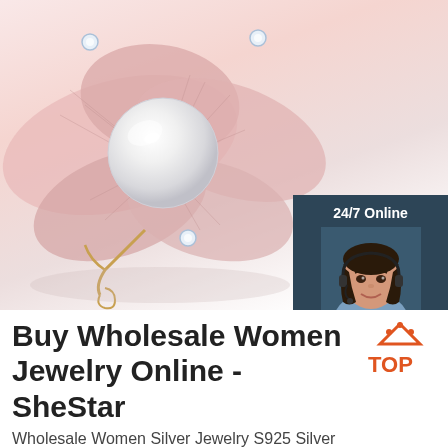[Figure (photo): Pink enamel flower brooch with large white pearl center and gold accents with crystal rhinestones]
[Figure (infographic): 24/7 Online customer service widget with smiling woman wearing headset, 'Click here for free chat!' text, and orange QUOTATION button, on dark navy background]
Buy Wholesale Women Jewelry Online - SheStar
[Figure (logo): TOP logo with orange triangle/arrow icon above the word TOP in orange bold text]
Wholesale Women Silver Jewelry S925 Silver